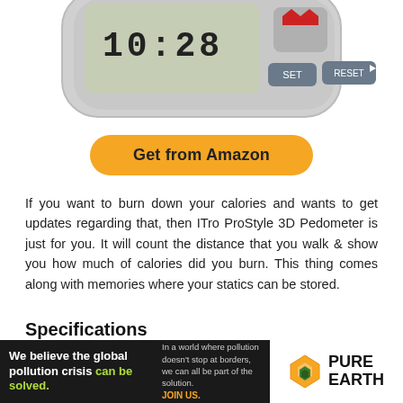[Figure (photo): Partial photo of a digital pedometer device showing LCD display with numbers, SET and RESET buttons, on white background]
Get from Amazon
If you want to burn down your calories and wants to get updates regarding that, then ITro ProStyle 3D Pedometer is just for you. It will count the distance that you walk & show you how much of calories did you burn. This thing comes along with memories where your statics can be stored.
Specifications
Color: White-Grey
[Figure (other): Advertisement banner for Pure Earth organization with text: We believe the global pollution crisis can be solved. / In a world where pollution doesn't stop at borders, we can all be part of the solution. JOIN US. / Pure Earth logo]